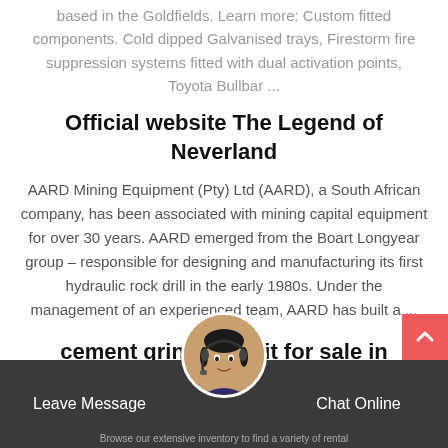based in the Goldfields. Learn more: Custom fitted components. Cold dipped Galvanised trays, Firestorm fire suppression systems fitted with dual activation points, Toyota Bullbar ...
Official website The Legend of Neverland
AARD Mining Equipment (Pty) Ltd (AARD), a South African company, has been associated with mining capital equipment for over 30 years. AARD emerged from the Boart Longyear group – responsible for designing and manufacturing its first hydraulic rock drill in the early 1980s. Under the management of an experienced team, AARD has built a ...
cement grinding unit for sale in zimbabwe
Browse our extensive inventory to find a variety of rental